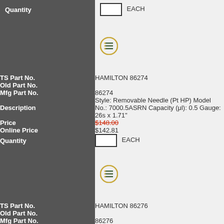| Field | Value |
| --- | --- |
| Quantity | EACH |
| (icon) |  |
| TS Part No. | HAMILTON 86274 |
| Old Part No. |  |
| Mfg Part No. | 86274 |
| Description | Style: Removable Needle (Pt HP) Model No.: 7000.5ASRN Capacity (μl): 0.5 Gauge: 26s x 1.71" |
| Price | $148.00 (strikethrough) |
| Online Price | $142.81 |
| Quantity | EACH |
| (icon) |  |
| TS Part No. | HAMILTON 86276 |
| Old Part No. |  |
| Mfg Part No. | 86276 |
| Description | Style: Removable Needle (Pt HP) Model No.: |